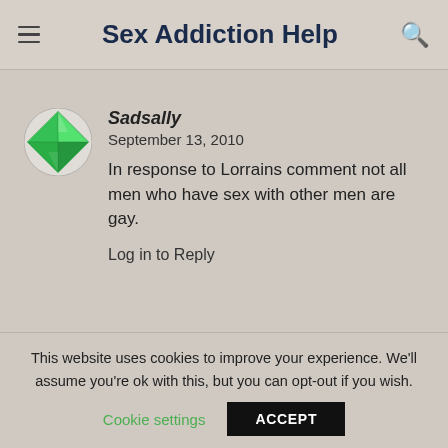Sex Addiction Help
Sadsally
September 13, 2010
In response to Lorrains comment not all men who have sex with other men are gay.
Log in to Reply
This website uses cookies to improve your experience. We'll assume you're ok with this, but you can opt-out if you wish.
Cookie settings    ACCEPT